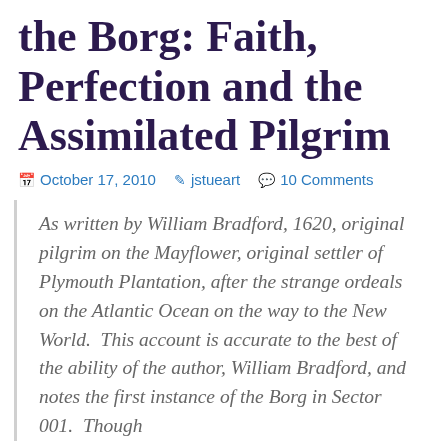the Borg: Faith, Perfection and the Assimilated Pilgrim
October 17, 2010   jstueart   10 Comments
As written by William Bradford, 1620, original pilgrim on the Mayflower, original settler of Plymouth Plantation, after the strange ordeals on the Atlantic Ocean on the way to the New World.  This account is accurate to the best of the ability of the author, William Bradford, and notes the first instance of the Borg in Sector 001.  Though